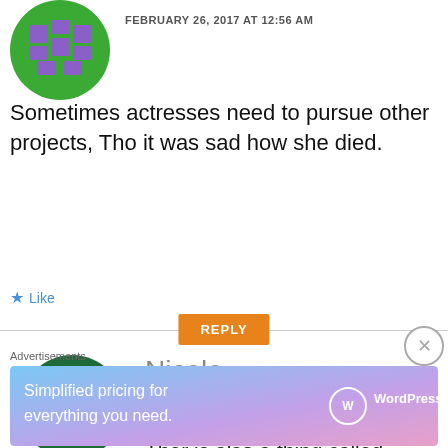[Figure (illustration): Green circular avatar with purple pixel/block icon, partially visible at top left]
FEBRUARY 26, 2017 AT 12:56 AM
Sometimes actresses need to pursue other projects, Tho it was sad how she died.
Like
REPLY
[Figure (illustration): Dark green circular avatar with green pixel/retro H-shaped icon]
Nicole
FEBRUARY 26, 2017 AT 10:11 AM
Ther is also a thing called
Advertisements
Simplified pricing for everything you need.
WordPress.com